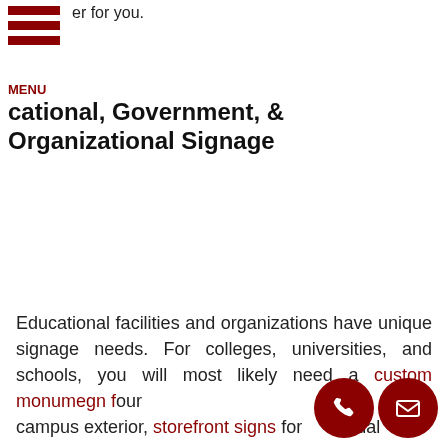er for you.
cational, Government, & Organizational Signage
Educational facilities and organizations have unique signage needs. For colleges, universities, and schools, you will most likely need a custom monument sign for your campus exterior, storefront signs for individual